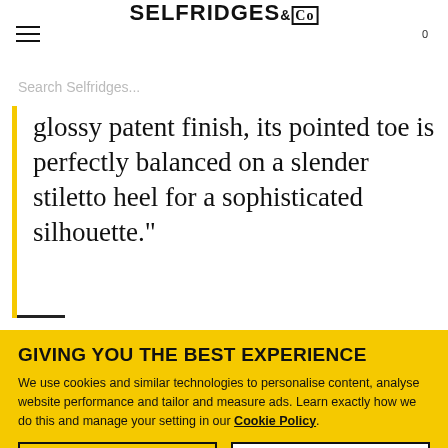SELFRIDGES &CO
Search Selfridges...
glossy patent finish, its pointed toe is perfectly balanced on a slender stiletto heel for a sophisticated silhouette."
GIVING YOU THE BEST EXPERIENCE
We use cookies and similar technologies to personalise content, analyse website performance and tailor and measure ads. Learn exactly how we do this and manage your setting in our Cookie Policy.
Manage cookies
Accept all